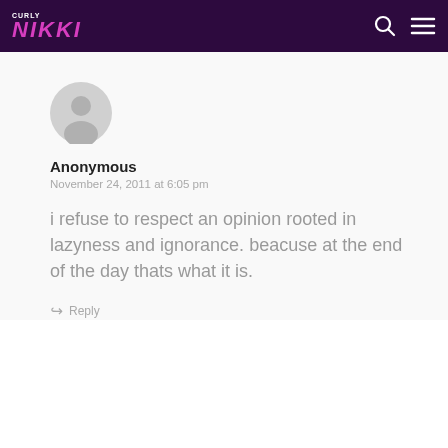CurlyNikki
[Figure (illustration): Anonymous user avatar - grey circular silhouette of a person]
Anonymous
November 24, 2011 at 6:05 pm
i refuse to respect an opinion rooted in lazyness and ignorance. beacuse at the end of the day thats what it is.
Reply